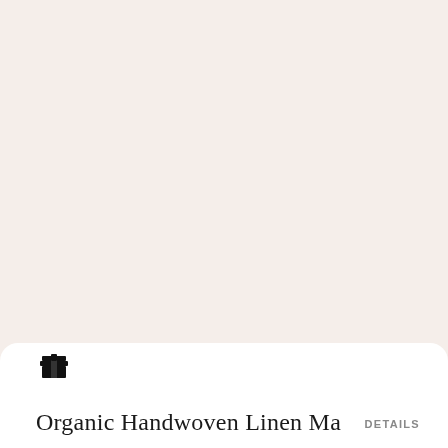[Figure (illustration): Gift/present icon in black, showing a small box with ribbon and bow on top]
Organic Handwoven Linen Ma
DETAILS